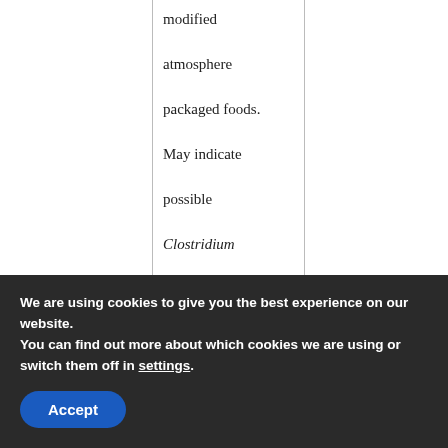|  |  |  |
| --- | --- | --- |
|  | modified atmosphere packaged foods. May indicate possible Clostridium botulinum risk. |  |
| Aerobic Psychrophilic Spore Count | Estimate population of bacterial spores able to grow at | Names of predominant spores and relative proportions of each |
We are using cookies to give you the best experience on our website.
You can find out more about which cookies we are using or switch them off in settings.